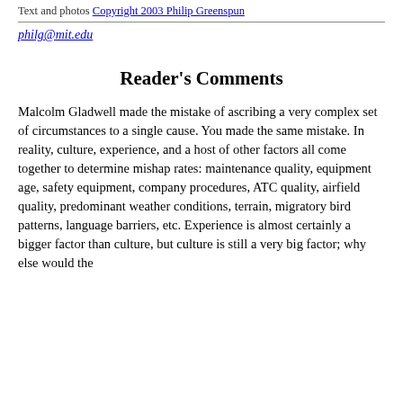Text and photos Copyright 2003 Philip Greenspun
philg@mit.edu
Reader's Comments
Malcolm Gladwell made the mistake of ascribing a very complex set of circumstances to a single cause. You made the same mistake. In reality, culture, experience, and a host of other factors all come together to determine mishap rates: maintenance quality, equipment age, safety equipment, company procedures, ATC quality, airfield quality, predominant weather conditions, terrain, migratory bird patterns, language barriers, etc. Experience is almost certainly a bigger factor than culture, but culture is still a very big factor; why else would the